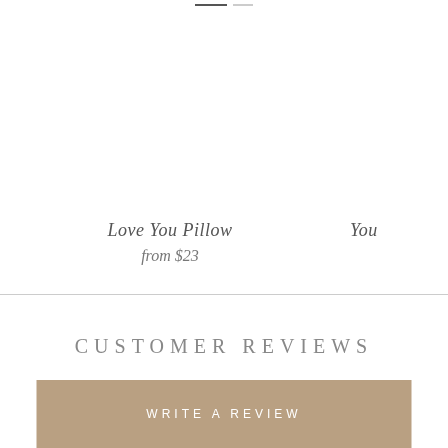[Figure (other): Navigation indicator with two horizontal bars at the top of the page (active and inactive states)]
Love You Pillow
from $23
You
CUSTOMER REVIEWS
WRITE A REVIEW